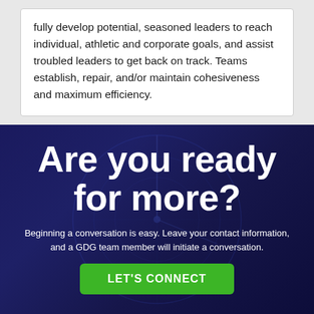fully develop potential, seasoned leaders to reach individual, athletic and corporate goals, and assist troubled leaders to get back on track. Teams establish, repair, and/or maintain cohesiveness and maximum efficiency.
Are you ready for more?
Beginning a conversation is easy. Leave your contact information, and a GDG team member will initiate a conversation.
LET'S CONNECT